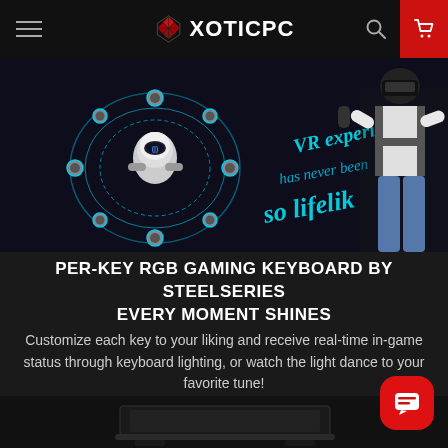XOTICPC navigation bar with hamburger menu, logo, search, and cart
[Figure (screenshot): VR gaming promotional banner showing a person in VR headset holding controllers on the right, and a floating VR drone/robot with circular blue light rings on the left. Handwritten-style blue text reads 'VR experience has never been so lifelik']
PER-KEY RGB GAMING KEYBOARD BY STEELSERIES EVERY MOMENT SHINES
Customize each key to your liking and receive real-time in-game status through keyboard lighting, or watch the light dance to your favorite tune!
[Figure (photo): Bottom portion of a gaming laptop shown at the bottom of the page]